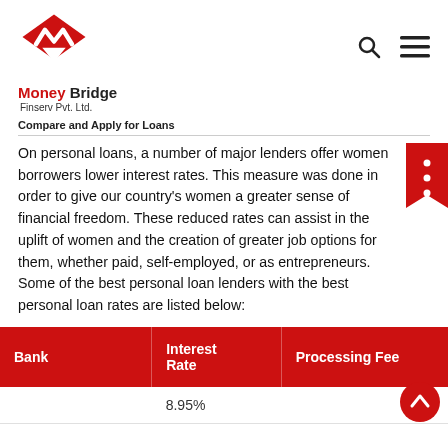[Figure (logo): Money Bridge Finserv Pvt. Ltd. logo with red geometric M icon]
Compare and Apply for Loans
On personal loans, a number of major lenders offer women borrowers lower interest rates. This measure was done in order to give our country's women a greater sense of financial freedom. These reduced rates can assist in the uplift of women and the creation of greater job options for them, whether paid, self-employed, or as entrepreneurs. Some of the best personal loan lenders with the best personal loan rates are listed below:
| Bank | Interest Rate | Processing Fee |
| --- | --- | --- |
|  | 8.95% |  |